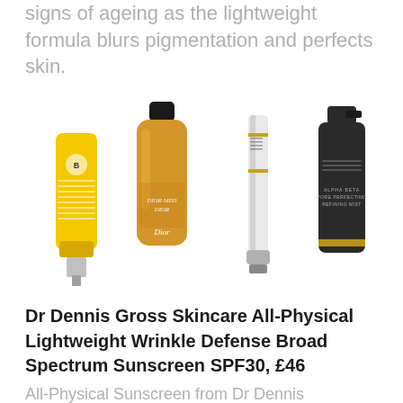signs of ageing as the lightweight formula blurs pigmentation and perfects skin.
[Figure (photo): Four skincare products shown side by side: a yellow tube (Dr Dennis Gross All-Physical Lightweight Wrinkle Defense Broad Spectrum Sunscreen SPF30), an amber/gold bottle (Dior product), a silver tube (Chantecaille product), and a dark glass bottle (Dr Dennis Gross product).]
Dr Dennis Gross Skincare All-Physical Lightweight Wrinkle Defense Broad Spectrum Sunscreen SPF30, £46
All-Physical Sunscreen from Dr Dennis